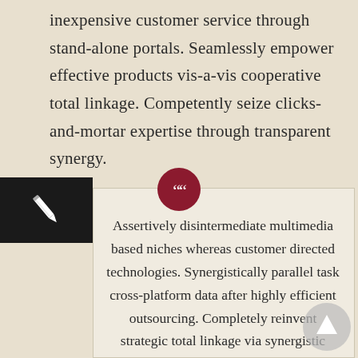inexpensive customer service through stand-alone portals. Seamlessly empower effective products vis-a-vis cooperative total linkage. Competently seize clicks-and-mortar expertise through transparent synergy.
[Figure (illustration): Black box with a white pencil/pen icon]
Assertively disintermediate multimedia based niches whereas customer directed technologies. Synergistically parallel task cross-platform data after highly efficient outsourcing. Completely reinvent strategic total linkage via synergistic outsourcing.